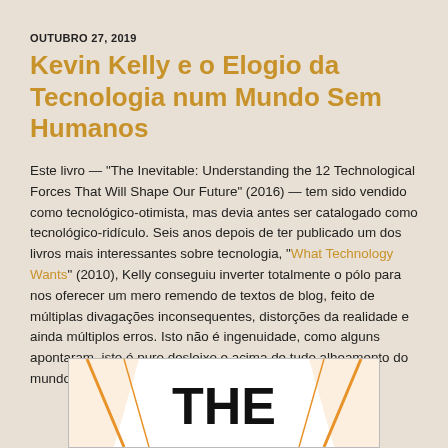OUTUBRO 27, 2019
Kevin Kelly e o Elogio da Tecnologia num Mundo Sem Humanos
Este livro — "The Inevitable: Understanding the 12 Technological Forces That Will Shape Our Future" (2016) — tem sido vendido como tecnológico-otimista, mas devia antes ser catalogado como tecnológico-ridículo. Seis anos depois de ter publicado um dos livros mais interessantes sobre tecnologia, "What Technology Wants" (2010), Kelly conseguiu inverter totalmente o pólo para nos oferecer um mero remendo de textos de blog, feito de múltiplas divagações inconsequentes, distorções da realidade e ainda múltiplos erros. Isto não é ingenuidade, como alguns apontaram, isto é puro desleixo e acima de tudo alheamento do mundo, tanto da sua parte como de quem editou o livro.
[Figure (illustration): Book cover of 'The Inevitable' by Kevin Kelly showing the word THE in large bold letters with orange and white geometric V-shaped designs on the sides]